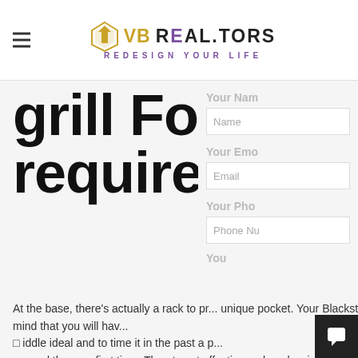VB REALTORS - REDESIGN YOUR LIFE
grill For your requirements
At the base, there's actually a rack to pr... unique pocket. Your Blackstone is straigh... gather, but bear in mind that you will hav... iddle ideal and to time it in the past a p... upward the very first time. The utmost effectiv... cook up luscious, seared meals that had gotten... to mouth-watering scores.
Noble Premiu Gd401 Mobile